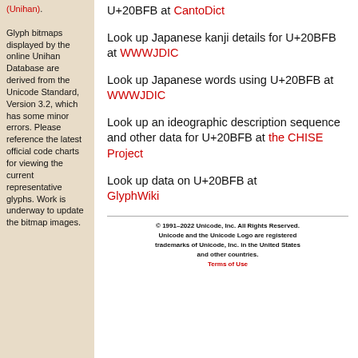(Unihan). Glyph bitmaps displayed by the online Unihan Database are derived from the Unicode Standard, Version 3.2, which has some minor errors. Please reference the latest official code charts for viewing the current representative glyphs. Work is underway to update the bitmap images.
U+20BFB at CantoDict
Look up Japanese kanji details for U+20BFB at WWWJDIC
Look up Japanese words using U+20BFB at WWWJDIC
Look up an ideographic description sequence and other data for U+20BFB at the CHISE Project
Look up data on U+20BFB at GlyphWiki
© 1991–2022 Unicode, Inc. All Rights Reserved. Unicode and the Unicode Logo are registered trademarks of Unicode, Inc. in the United States and other countries. Terms of Use